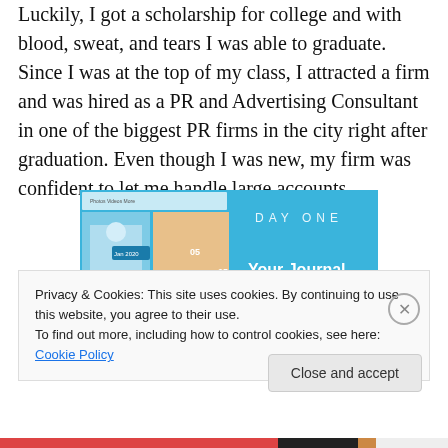Luckily, I got a scholarship for college and with blood, sweat, and tears I was able to graduate. Since I was at the top of my class, I attracted a firm and was hired as a PR and Advertising Consultant in one of the biggest PR firms in the city right after graduation. Even though I was new, my firm was confident to let me handle large accounts.
[Figure (screenshot): Screenshot of the Day One journal app — left side shows the app interface with photo grid and 'Jan 2020' date; right side shows a blue background with 'DAY ONE' logo text and 'Your Journal for life' tagline in white.]
Privacy & Cookies: This site uses cookies. By continuing to use this website, you agree to their use.
To find out more, including how to control cookies, see here: Cookie Policy
Close and accept